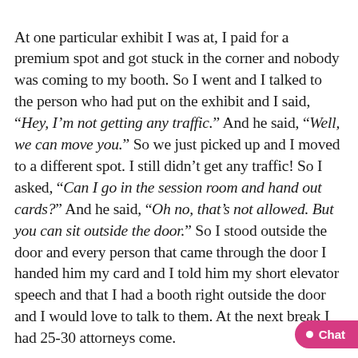At one particular exhibit I was at, I paid for a premium spot and got stuck in the corner and nobody was coming to my booth. So I went and I talked to the person who had put on the exhibit and I said, “Hey, I’m not getting any traffic.” And he said, “Well, we can move you.” So we just picked up and I moved to a different spot. I still didn’t get any traffic! So I asked, “Can I go in the session room and hand out cards?” And he said, “Oh no, that’s not allowed. But you can sit outside the door.” So I stood outside the door and every person that came through the door I handed him my card and I told him my short elevator speech and that I had a booth right outside the door and I would love to talk to them. At the next break I had 25-30 attorneys come.
The following day I got a phone call from an attorney who said, “I just wanted to congratulate you.” I asked, “F…”